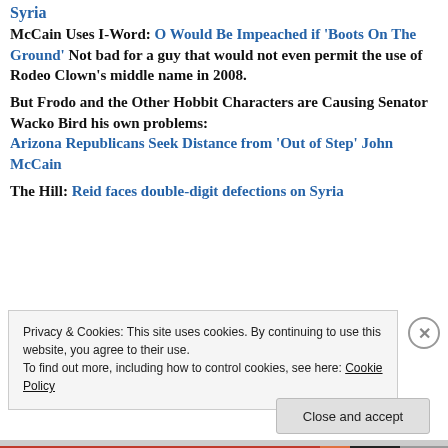Syria
McCain Uses I-Word: O Would Be Impeached if 'Boots On The Ground' Not bad for a guy that would not even permit the use of Rodeo Clown's middle name in 2008.
But Frodo and the Other Hobbit Characters are Causing Senator Wacko Bird his own problems: Arizona Republicans Seek Distance from 'Out of Step' John McCain
The Hill: Reid faces double-digit defections on Syria
Privacy & Cookies: This site uses cookies. By continuing to use this website, you agree to their use.
To find out more, including how to control cookies, see here: Cookie Policy
Close and accept